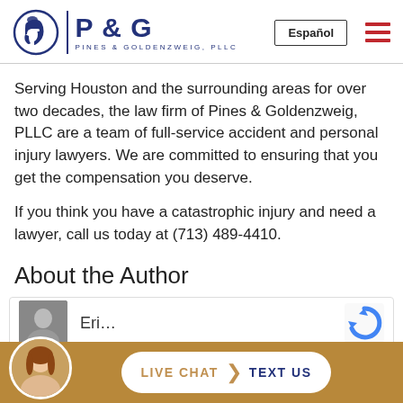[Figure (logo): Pines & Goldenzweig PLLC law firm logo with Spartan helmet icon and P & G text, plus Español navigation button and hamburger menu]
Serving Houston and the surrounding areas for over two decades, the law firm of Pines & Goldenzweig, PLLC are a team of full-service accident and personal injury lawyers. We are committed to ensuring that you get the compensation you deserve.
If you think you have a catastrophic injury and need a lawyer, call us today at (713) 489-4410.
About the Author
[Figure (photo): Author photo partially visible with name 'Eri...' showing, reCAPTCHA logo on right, and live chat/text us bar at bottom with female avatar]